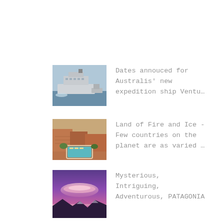[Figure (photo): Photo of a cruise ship on water with another vessel nearby]
Dates annouced for Australis' new expedition ship Ventu…
[Figure (photo): Photo of a desert/rocky landscape with a pool area visible]
Land of Fire and Ice - Few countries on the planet are as varied …
[Figure (photo): Photo of a purple/pink sunset sky over mountains in Patagonia]
Mysterious, Intriguing, Adventurous, PATAGONIA